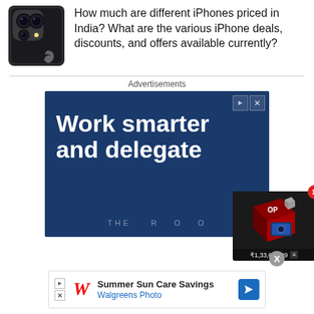[Figure (photo): Close-up photo of iPhone camera module with triple lenses on dark smartphone body]
How much are different iPhones priced in India? What are the various iPhone deals, discounts, and offers available currently?
Advertisements
[Figure (illustration): Advertisement banner with dark blue background showing text 'Work smarter and delegate' with 'THE ROO' branding at bottom. A floating product widget shows a gaming device box priced at ₹1,33,689.99 with a red dismiss button.]
[Figure (illustration): Walgreens Photo advertisement banner: 'Summer Sun Care Savings' with Walgreens Photo logo and blue arrow icon. Small play and close buttons on left.]